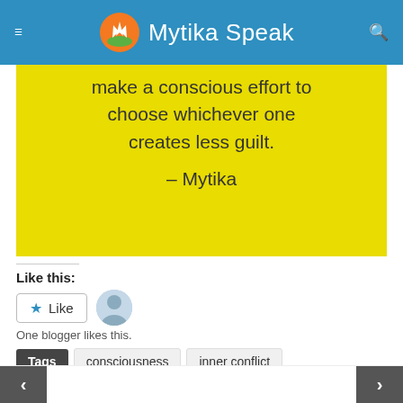Mytika Speak
[Figure (illustration): Yellow quote card with text: '...gy... make a conscious effort to choose whichever one creates less guilt. – Mytika']
Like this:
Like  [avatar]  One blogger likes this.
Tags  consciousness  inner conflict  mood swings  personal growth  spirituality  True Self